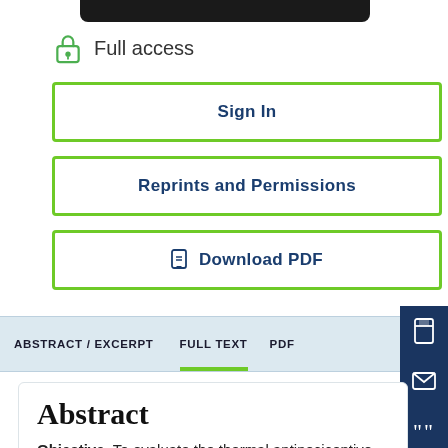[Figure (screenshot): Black top navigation bar partial]
Full access
Sign In
Reprints and Permissions
Download PDF
ABSTRACT/EXCERPT   FULL TEXT   PDF
Abstract
Objective–To evaluate the thermal antinociceptive and sedative effects and duration of action of tramadol…